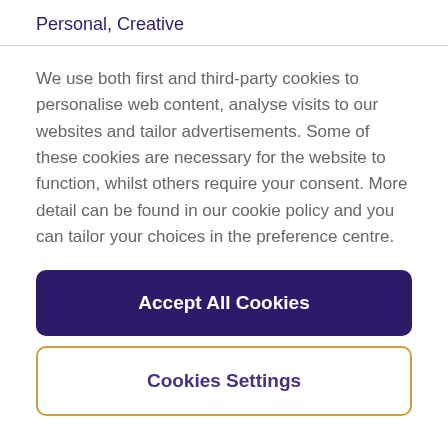Personal, Creative
We use both first and third-party cookies to personalise web content, analyse visits to our websites and tailor advertisements. Some of these cookies are necessary for the website to function, whilst others require your consent. More detail can be found in our cookie policy and you can tailor your choices in the preference centre.
Accept All Cookies
Cookies Settings